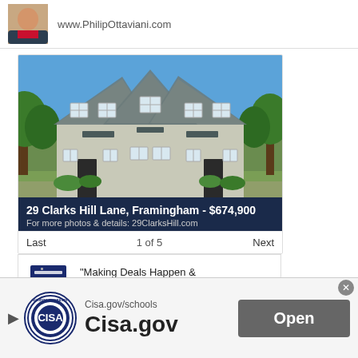[Figure (photo): Real estate agent photo with website URL www.PhilipOttaviani.com]
[Figure (photo): Photo of a multi-unit gray/beige house with multiple gable roofs, dormers, and green landscaping under a blue sky. Listing for 29 Clarks Hill Lane, Framingham - $674,900]
29 Clarks Hill Lane, Framingham - $674,900
For more photos & details: 29ClarksHill.com
Last	1 of 5	Next
[Figure (photo): Real estate sign icon]
"Making Deals Happen & Getting Things Done!"
PhilipOttaviani.com
[Figure (logo): CISA circular logo/seal]
Cisa.gov/schools
Cisa.gov